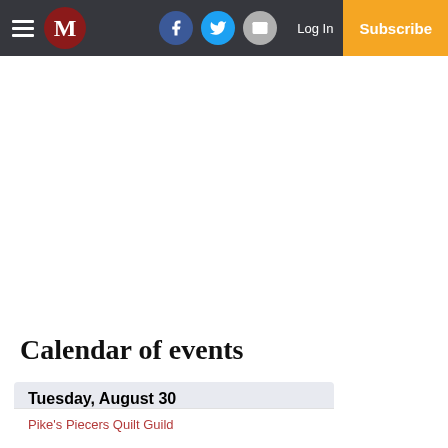M — Log In — Subscribe (navigation bar with Facebook, Twitter, Email icons)
Calendar of events
Tuesday, August 30
Pike's Piecers Quilt Guild